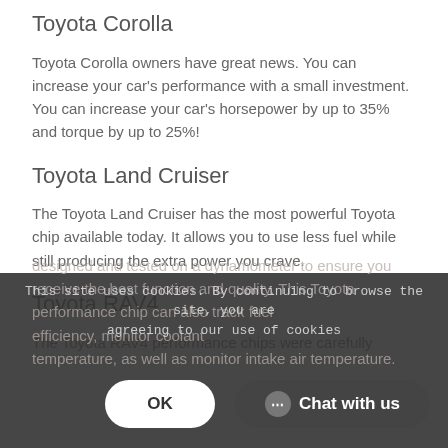Toyota Corolla
Toyota Corolla owners have great news. You can increase your car's performance with a small investment. You can increase your car's horsepower by up to 35% and torque by up to 25%!
Toyota Land Cruiser
The Toyota Land Cruiser has the most powerful Toyota chip available today. It allows you to use less fuel while still producing the extra power you crave.
Toyota RAV4
The Toyota RAV4 performance chips were carefully designed and tested on a dynamometer to ensure you receive the best function and quality. This Toyota performance chip can also track fuel efficiency, monitor coolant temperature, as well as monitor intake air temperature.
This site uses cookies. By continuing to browse the site, you are agreeing to our use of cookies.